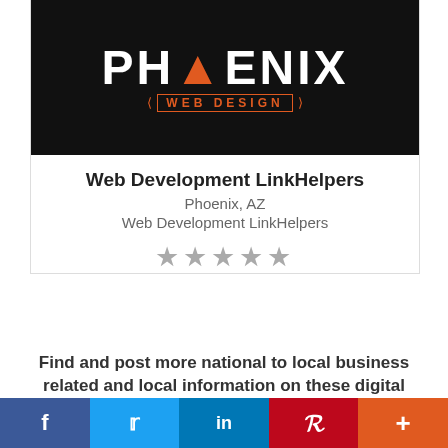[Figure (logo): Phoenix Web Design logo on black background with orange phoenix bird icon and white bold text PHOENIX above orange WEB DESIGN text with chevron brackets]
Web Development LinkHelpers
Phoenix, AZ
Web Development LinkHelpers
★★★★★
Find and post more national to local business related and local information on these digital destinations!
Localzz | Localzz Network | Localzz Media | Localzz Marketplaces
LOCAL and NATIONAL INFORMATION NETWORK | Local Advertising Network | Listing Advertising